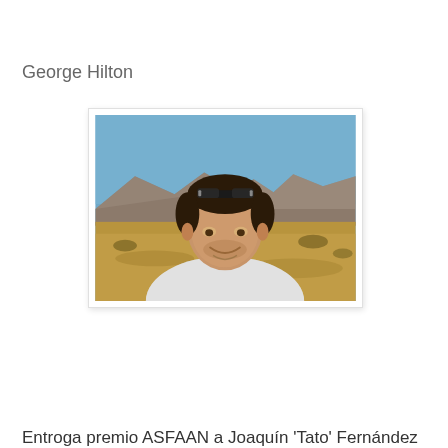George Hilton
[Figure (photo): Outdoor portrait photo of a man smiling, wearing a white t-shirt and sunglasses on his head, with a dry desert/mountain landscape in the background under a blue sky.]
Entroga premio ASFAAN a Joaquín 'Tato' Fernández